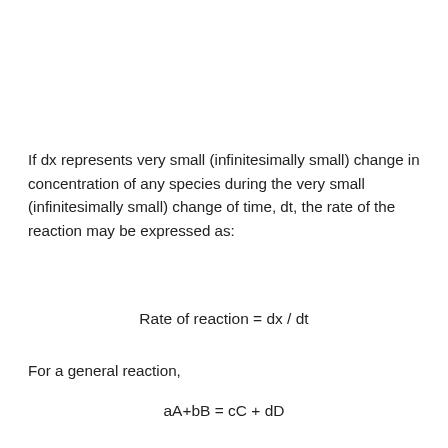If dx represents very small (infinitesimally small) change in concentration of any species during the very small (infinitesimally small) change of time, dt, the rate of the reaction may be expressed as:
For a general reaction,